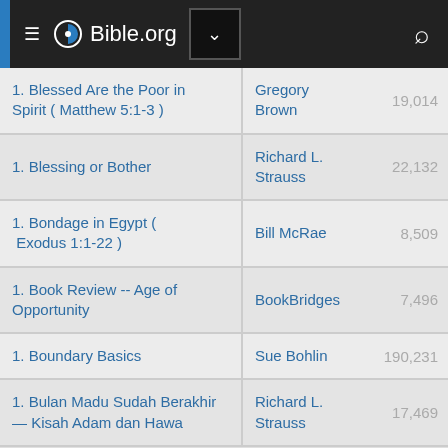Bible.org
| Title | Author | Views |
| --- | --- | --- |
| 1. Blessed Are the Poor in Spirit ( Matthew 5:1-3 ) | Gregory Brown | 19,014 |
| 1. Blessing or Bother | Richard L. Strauss | 22,132 |
| 1. Bondage in Egypt ( Exodus 1:1-22 ) | Bill McRae | 8,509 |
| 1. Book Review -- Age of Opportunity | BookBridges | 7,496 |
| 1. Boundary Basics | Sue Bohlin | 190,231 |
| 1. Bulan Madu Sudah Berakhir — Kisah Adam dan Hawa | Richard L. Strauss | 17,469 |